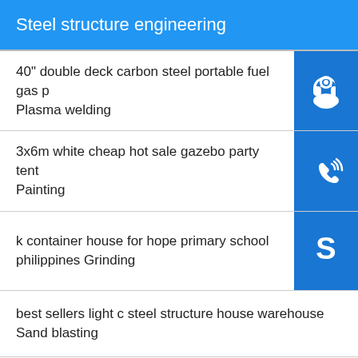Steel structure engineering
40" double deck carbon steel portable fuel gas p Plasma welding
3x6m white cheap hot sale gazebo party tent Painting
k container house for hope primary school philippines Grinding
best sellers light c steel structure house warehouse Sand blasting
china direct supplies poultry farm construction plan Grinding
waterproof sliding corner shower cabinet 1200 x 800